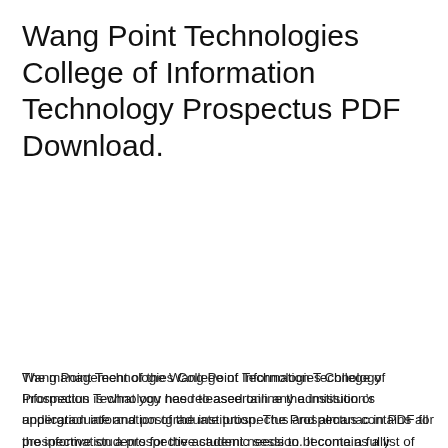Wang Point Technologies College of Information Technology Prospectus PDF Download.
The management of the Wang Point Technologies College of Information Technology has released online the institution’s undergraduate and postgraduate prospectus and almanac in PDF for prospective students for the academic session. It contains a list of courses, admission requirements, and all admission application information to guide you through Wang Point Technologies College of Information Technology admission process.
Wang Point Technologies College of Information Technology Prospectus is what you need to ascertain any admission or application information of the institution. The Prospectus contains all the information a prospective student needs to become a fully